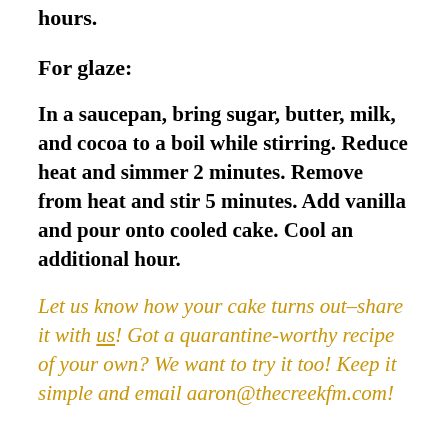hours.
For glaze:
In a saucepan, bring sugar, butter, milk, and cocoa to a boil while stirring. Reduce heat and simmer 2 minutes. Remove from heat and stir 5 minutes. Add vanilla and pour onto cooled cake. Cool an additional hour.
Let us know how your cake turns out–share it with us! Got a quarantine-worthy recipe of your own? We want to try it too! Keep it simple and email aaron@thecreekfm.com!